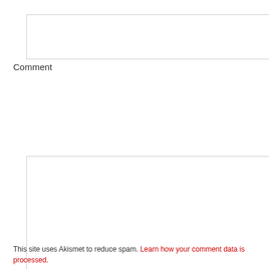[Figure (screenshot): Empty text input field with border]
Comment
[Figure (screenshot): Large empty textarea for comment input with resize handle]
POST COMMENT
This site uses Akismet to reduce spam. Learn how your comment data is processed.